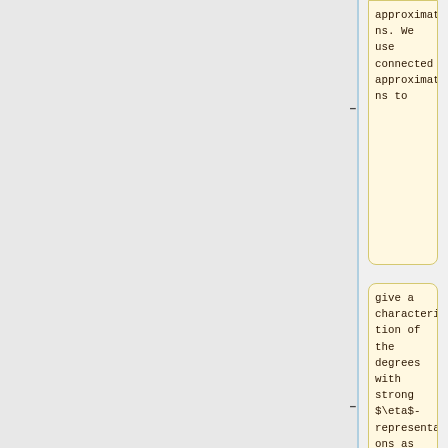approximations. We use connected approximations to
give a characterization of the degrees with strong $\eta$-representations as well new
characterizations of the subclasses of $\eta$-representations with